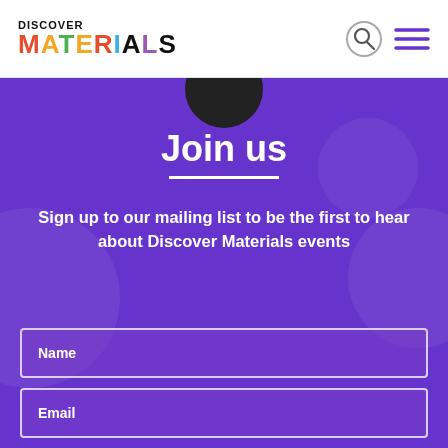DISCOVER MATERIALS
Join us
Sign up to our mailing list to be the first to hear about Discover Materials events
Name
Email